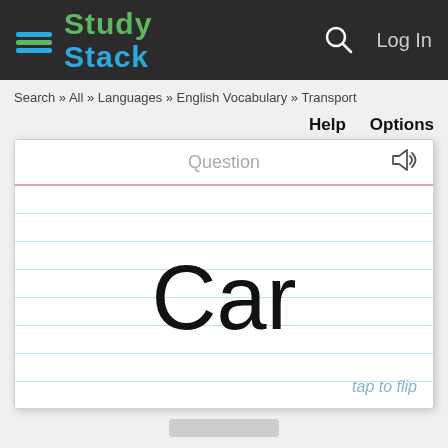[Figure (logo): StudyStack logo with green 'Study' text and blue 'Stack' text with book icon on dark background header]
Log In
Search » All » Languages » English Vocabulary » Transport
Help   Options
[Figure (screenshot): Flashcard showing the word 'Car' on lined paper background with 'Question' label at top, speaker icon, and 'tap to flip' text at bottom right]
Car
tap to flip